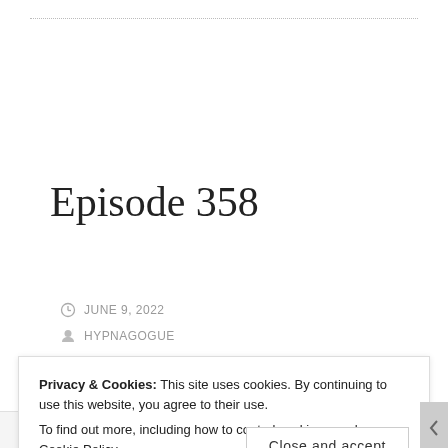Episode 358
JUNE 9, 2022
HYPNAGOGUE
2 COMMENTS
Privacy & Cookies: This site uses cookies. By continuing to use this website, you agree to their use.
To find out more, including how to control cookies, see here: Cookie Policy
Close and accept
Post on the go.